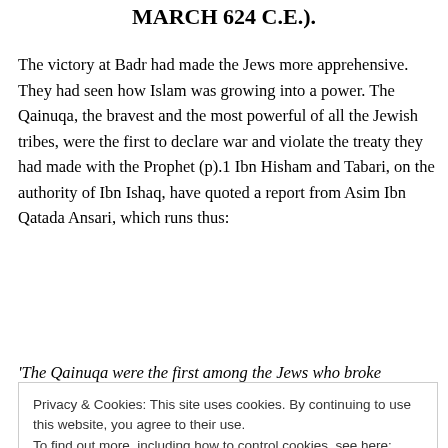MARCH 624 C.E.).
The victory at Badr had made the Jews more apprehensive. They had seen how Islam was growing into a power. The Qainuqa, the bravest and the most powerful of all the Jewish tribes, were the first to declare war and violate the treaty they had made with the Prophet (p).1 Ibn Hisham and Tabari, on the authority of Ibn Ishaq, have quoted a report from Asim Ibn Qatada Ansari, which runs thus:
'The Qainuqa were the first among the Jews who broke
Privacy & Cookies: This site uses cookies. By continuing to use this website, you agree to their use.
To find out more, including how to control cookies, see here: Cookie Policy
[Close and accept]